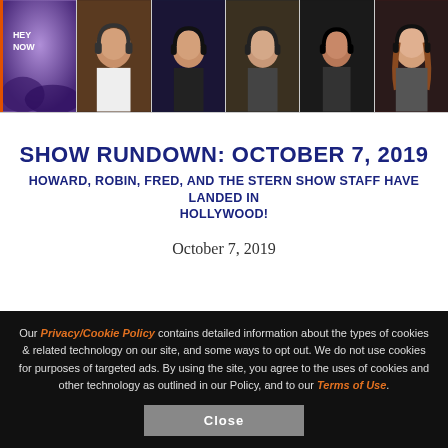[Figure (photo): Six thumbnail images in a horizontal strip: a purple 'Hey Now' graphic, and five people wearing headphones (podcast/radio hosts). The first thumbnail has an orange left border.]
SHOW RUNDOWN: OCTOBER 7, 2019
HOWARD, ROBIN, FRED, AND THE STERN SHOW STAFF HAVE LANDED IN HOLLYWOOD!
October 7, 2019
Our Privacy/Cookie Policy contains detailed information about the types of cookies & related technology on our site, and some ways to opt out. We do not use cookies for purposes of targeted ads. By using the site, you agree to the uses of cookies and other technology as outlined in our Policy, and to our Terms of Use.
Close